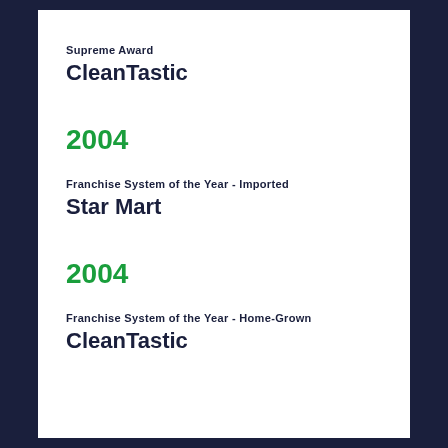Supreme Award
CleanTastic
2004
Franchise System of the Year - Imported
Star Mart
2004
Franchise System of the Year - Home-Grown
CleanTastic